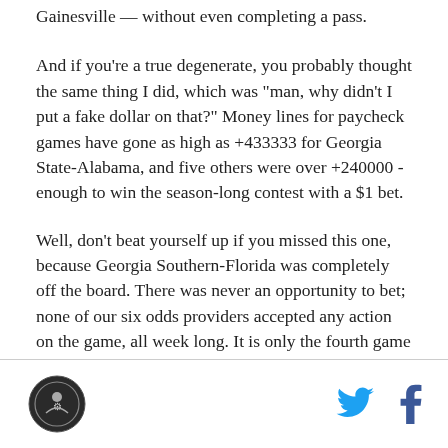Gainesville — without even completing a pass.
And if you're a true degenerate, you probably thought the same thing I did, which was "man, why didn't I put a fake dollar on that?" Money lines for paycheck games have gone as high as +433333 for Georgia State-Alabama, and five others were over +240000 - enough to win the season-long contest with a $1 bet.
Well, don't beat yourself up if you missed this one, because Georgia Southern-Florida was completely off the board. There was never an opportunity to bet; none of our six odds providers accepted any action on the game, all week long. It is only the fourth game (out of more than 700) this season where that happened.
[Figure (logo): Circular logo with dark background, website or publication emblem]
[Figure (other): Twitter bird icon (blue) and Facebook 'f' icon (dark), social sharing buttons]